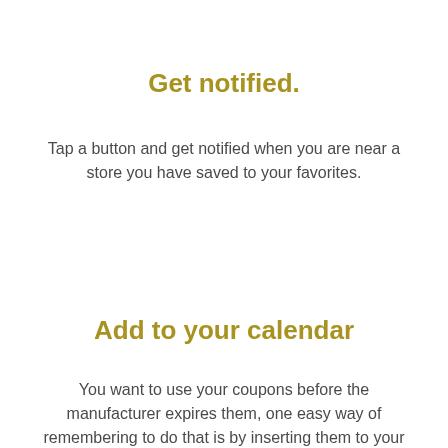Get notified.
Tap a button and get notified when you are near a store you have saved to your favorites.
Add to your calendar
You want to use your coupons before the manufacturer expires them, one easy way of remembering to do that is by inserting them to your calendar - with just a single tap!